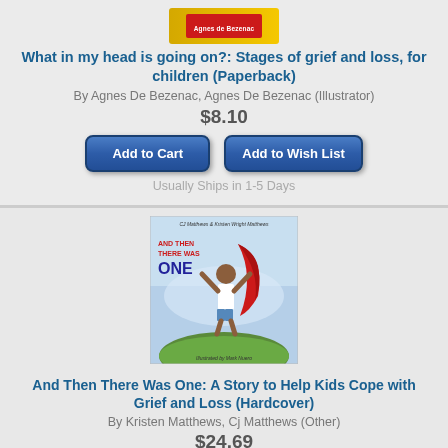[Figure (illustration): Book cover thumbnail for 'What in my head is going on?' - yellow/red banner with Agnes de Bezenac text]
What in my head is going on?: Stages of grief and loss, for children (Paperback)
By Agnes De Bezenac, Agnes De Bezenac (Illustrator)
$8.10
Add to Cart
Add to Wish List
Usually Ships in 1-5 Days
[Figure (illustration): Book cover for 'And Then There Was One' showing a child with arms raised wearing a superhero cape, standing on a hill. Text says 'And Then There Was One'. By CJ Matthews & Kristen Wright Matthews, illustrated by Mark Nuero.]
And Then There Was One: A Story to Help Kids Cope with Grief and Loss (Hardcover)
By Kristen Matthews, Cj Matthews (Other)
$24.69